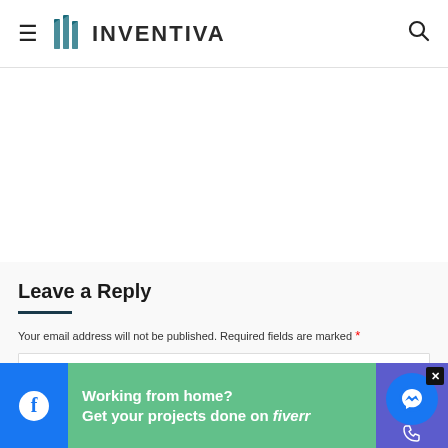INVENTIVA
Leave a Reply
Your email address will not be published. Required fields are marked *
[Figure (screenshot): Comment text input box, empty]
[Figure (infographic): Bottom bar with Facebook icon, Fiverr advertisement banner reading 'Working from home? Get your projects done on fiverr', messenger bubble icon, close button, and phone icon area on purple background]